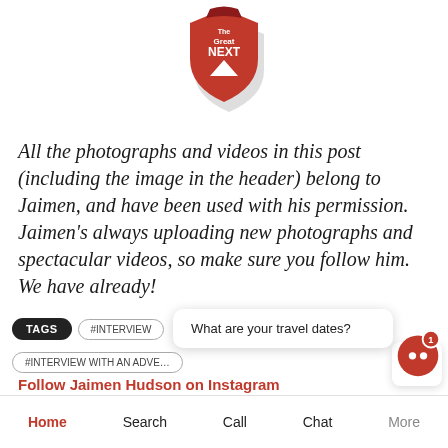[Figure (logo): The Great NEXT shield/badge logo with mountain icon, red and grey coloring]
All the photographs and videos in this post (including the image in the header) belong to Jaimen, and have been used with his permission. Jaimen's always uploading new photographs and spectacular videos, so make sure you follow him. We have already!
Follow Jaimen Hudson on Instagram
Follow Jaimen Hudson on Facebook
TAGS  #INTERVIEW  #INTERVIEW WITH AN ADVE…
What are your travel dates?